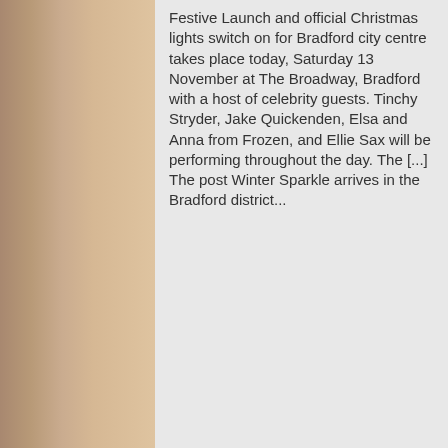[Figure (photo): Background photo of a brick wall with autumn or festive foliage visible on the left side of the page]
Festive Launch and official Christmas lights switch on for Bradford city centre takes place today, Saturday 13 November at The Broadway, Bradford with a host of celebrity guests. Tinchy Stryder, Jake Quickenden, Elsa and Anna from Frozen, and Ellie Sax will be performing throughout the day. The [...]
The post Winter Sparkle arrives in the Bradford district...